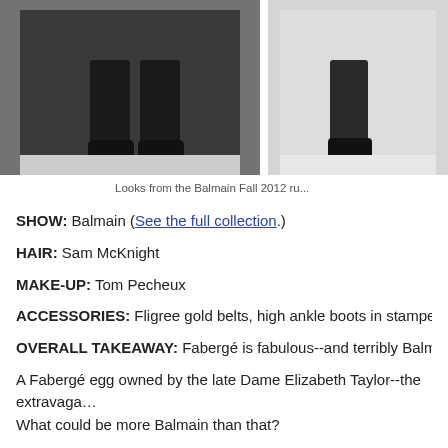[Figure (photo): Two fashion runway photos showing close-up of models' legs and boots from the Balmain Fall 2012 runway show]
Looks from the Balmain Fall 2012 ru...
SHOW: Balmain (See the full collection.)
HAIR: Sam McKnight
MAKE-UP: Tom Pecheux
ACCESSORIES: Fligree gold belts, high ankle boots in stamped velv...
OVERALL TAKEAWAY: Fabergé is fabulous--and terribly Balmain...
A Fabergé egg owned by the late Dame Elizabeth Taylor--the extravaga... What could be more Balmain than that?
Olivier Rousteing may only be two seasons into his tenure at Balmain b... exciting thing now is to see him taking it somewhere new.